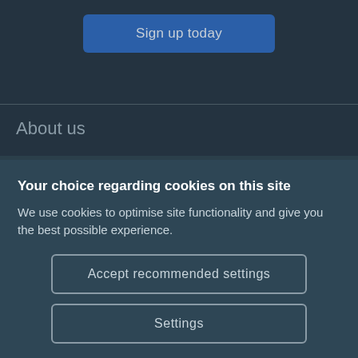Sign up today
About us
Your choice regarding cookies on this site
We use cookies to optimise site functionality and give you the best possible experience.
Accept recommended settings
Settings